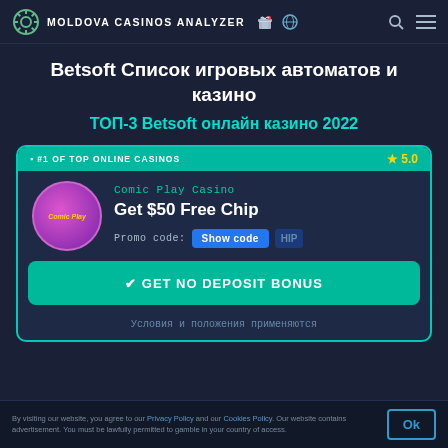MOLDOVA CASINOS ANALYZER
Betsoft Список игровых автоматов и казино
ТОП-3 Betsoft онлайн казино 2022
[Figure (screenshot): Casino card for Comic Play Casino offering Get $50 Free Chip with promo code, rated 5.0, #1 of top online casinos, with GET NO DEPOSIT BONUS button]
By visiting our website, you agree to our Privacy Policy and our Cookies Policy. Our website contains advertisement. You must be lawfully permitted to gamble in your country of access.